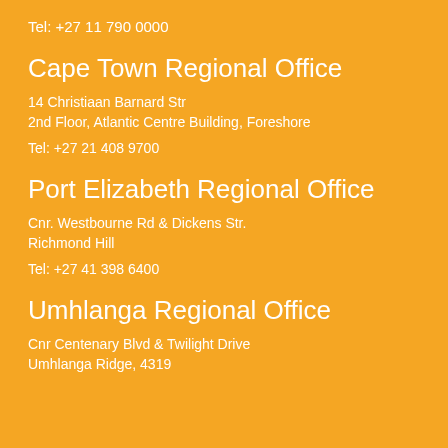Tel: +27 11 790 0000
Cape Town Regional Office
14 Christiaan Barnard Str
2nd Floor, Atlantic Centre Building, Foreshore
Tel: +27 21 408 9700
Port Elizabeth Regional Office
Cnr. Westbourne Rd & Dickens Str.
Richmond Hill
Tel: +27 41 398 6400
Umhlanga Regional Office
Cnr Centenary Blvd & Twilight Drive
Umhlanga Ridge, 4319